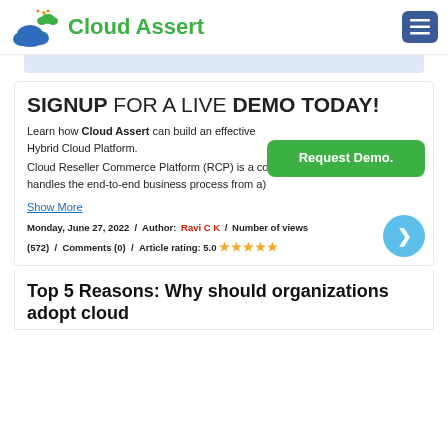[Figure (logo): Cloud Assert logo with cloud icon and sun/rain colors, green text 'Cloud Assert']
SIGNUP FOR A LIVE DEMO TODAY!
Learn how Cloud Assert can build an effective Hybrid Cloud Platform. Cloud Reseller Commerce Platform (RCP) is a comprehensive solution that handles the end-to-end business process from a)
Show More
Monday, June 27, 2022  /  Author: Ravi C K  /  Number of views (572)  /  Comments (0)  /  Article rating: 5.0 ★★★★★
Top 5 Reasons: Why should organizations adopt cloud